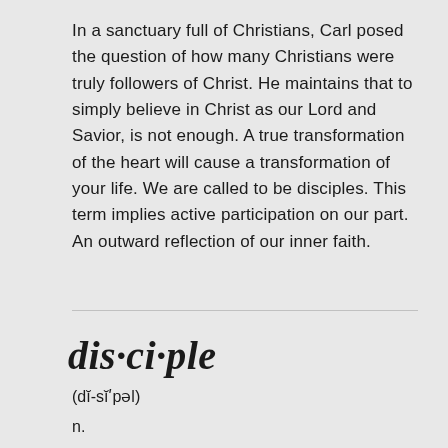In a sanctuary full of Christians, Carl posed the question of how many Christians were truly followers of Christ. He maintains that to simply believe in Christ as our Lord and Savior, is not enough. A true transformation of the heart will cause a transformation of your life. We are called to be disciples. This term implies active participation on our part. An outward reflection of our inner faith.
dis·ci·ple
(dĭ-sĭ′pəl)
n.